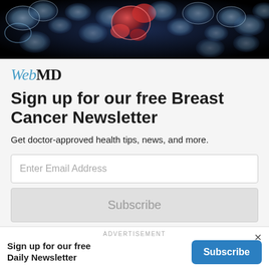[Figure (photo): Close-up scientific/medical illustration of cancer cells, blue and red tones on black background]
WebMD
Sign up for our free Breast Cancer Newsletter
Get doctor-approved health tips, news, and more.
Enter Email Address
Subscribe
By clicking Subscribe, I agree to the WebMD Terms & Conditions & Privacy Policy and understand that I may opt out of WebMD subscriptions at any time.
ADVERTISEMENT
Sign up for our free Daily Newsletter
Subscribe